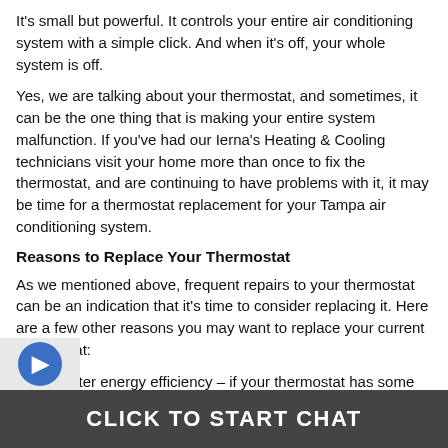It's small but powerful. It controls your entire air conditioning system with a simple click. And when it's off, your whole system is off.
Yes, we are talking about your thermostat, and sometimes, it can be the one thing that is making your entire system malfunction. If you've had our Ierna's Heating & Cooling technicians visit your home more than once to fix the thermostat, and are continuing to have problems with it, it may be time for a thermostat replacement for your Tampa air conditioning system.
Reasons to Replace Your Thermostat
As we mentioned above, frequent repairs to your thermostat can be an indication that it's time to consider replacing it. Here are a few other reasons you may want to replace your current thermostat:
Better energy efficiency – if your thermostat has some age to it, or isn't programmable, you may be losing out on some significant energy savings. Older thermostats may not be as accurate as they once were, leading to temperature readings being incorrect. Programmable
CLICK TO START CHAT